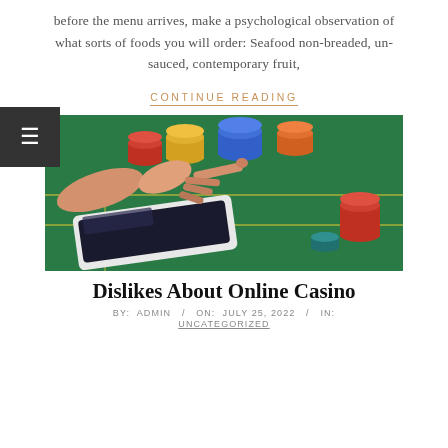before the menu arrives, make a psychological observation of what sorts of foods you will order: Seafood non-breaded, un-sauced, contemporary fruit,
CONTINUE READING
[Figure (photo): A hand pointing at a tablet on a casino table with colorful poker chips.]
Dislikes About Online Casino
BY: ADMIN / ON: JULY 25, 2022 / IN: UNCATEGORIZED